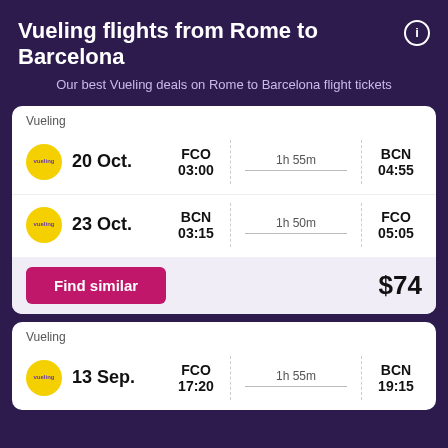Vueling flights from Rome to Barcelona
Our best Vueling deals on Rome to Barcelona flight tickets
| Date | From | Duration | To |
| --- | --- | --- | --- |
| 20 Oct. | FCO 03:00 | 1h 55m | BCN 04:55 |
| 23 Oct. | BCN 03:15 | 1h 50m | FCO 05:05 |
Find similar
$74
| Date | From | Duration | To |
| --- | --- | --- | --- |
| 13 Sep. | FCO 17:20 | 1h 55m | BCN 19:15 |